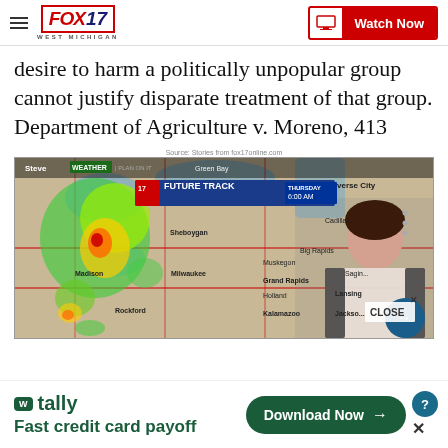FOX 17 WEST MICHIGAN | Watch Now
desire to harm a politically unpopular group cannot justify disparate treatment of that group. Department of Agriculture v. Moreno, 413
Source: Stories from fox17online.com
[Figure (screenshot): Weather broadcast screenshot showing Fox 17 Future Track radar map of Great Lakes / Midwest region with meteorologist standing in front, showing severe weather system. THURSDAY 6:00 AM timestamp visible. Cities including Traverse City, Cadillac, Big Rapids, Sheboygan, Milwaukee, Madison, Muskegon, Grand Rapids, Holland, Lansing, Kalamazoo, Jackson, Rockford, Sagin visible.]
[Figure (screenshot): Advertisement banner for Tally app: 'Fast credit card payoff' with Download Now button in dark green]